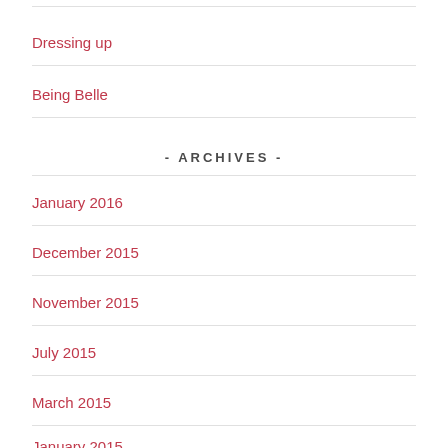Dressing up
Being Belle
- ARCHIVES -
January 2016
December 2015
November 2015
July 2015
March 2015
January 2015